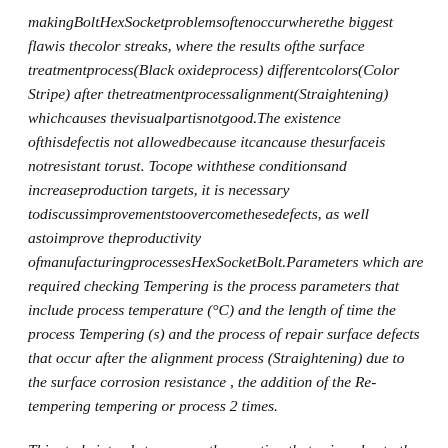makingBoltHexSocketproblemsoftenoccurwherethe biggest flawis thecolor streaks, where the results ofthe surface treatmentprocess(Black oxideprocess) differentcolors(Color Stripe) after thetreatmentprocessalignment(Straightening) whichcauses thevisualpartisnotgood.The existence ofthisdefectis not allowedbecause itcancause thesurfaceis notresistant torust. Tocope withthese conditionsand increaseproduction targets, it is necessary todiscussimprovementstoovercomethesedefects, as well astoimprove theproductivity ofmanufacturingprocessesHexSocketBolt.Parameters which are required checking Tempering is the process parameters that include process temperature (°C) and the length of time the process Tempering (s) and the process of repair surface defects that occur after the alignment process (Straightening) due to the surface corrosion resistance , the addition of the Re-tempering tempering or process 2 times.
This study intends to answer the question that arises due to the